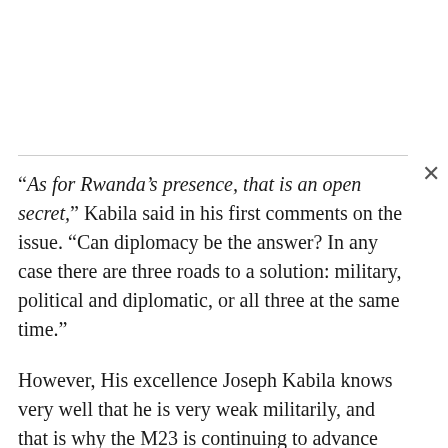“As for Rwanda’s presence, that is an open secret,” Kabila said in his first comments on the issue. “Can diplomacy be the answer? In any case there are three roads to a solution: military, political and diplomatic, or all three at the same time.”
However, His excellence Joseph Kabila knows very well that he is very weak militarily, and that is why the M23 is continuing to advance towards different towns of North Kivu province.
The M23 is predominantly a Tutsi rebels group made up of the Rwanda-backed National Congress for the Defence of the People (CNDP). The information gathered from anonymous veterans indicates that the M23 group is made up of the active